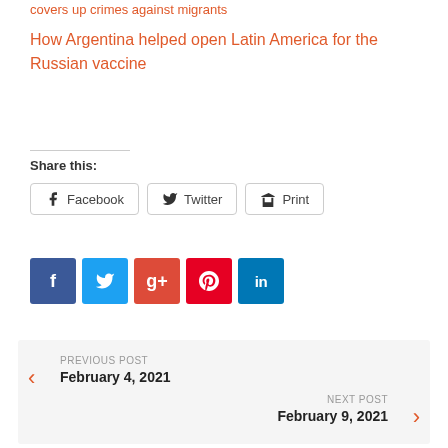covers up crimes against migrants
How Argentina helped open Latin America for the Russian vaccine
Share this:
Facebook  Twitter  Print
[Figure (other): Social media share icons: Facebook (blue), Twitter (light blue), Google+ (red-orange), Pinterest (crimson), LinkedIn (dark blue)]
PREVIOUS POST
February 4, 2021
NEXT POST
February 9, 2021